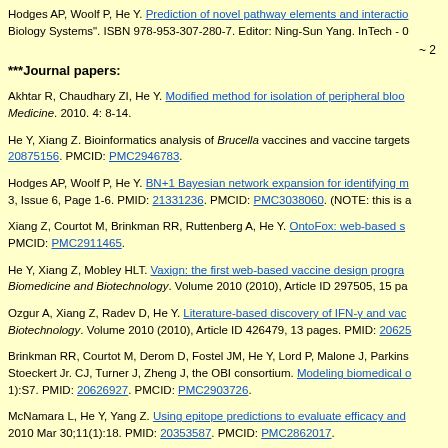Hodges AP, Woolf P, He Y. Prediction of novel pathway elements and interactions Biology Systems". ISBN 978-953-307-280-7. Editor: Ning-Sun Yang. InTech -
~ 2
***Journal papers:
Akhtar R, Chaudhary ZI, He Y. Modified method for isolation of peripheral blood Medicine. 2010. 4: 8-14.
He Y, Xiang Z. Bioinformatics analysis of Brucella vaccines and vaccine targets 20875156. PMCID: PMC2946783.
Hodges AP, Woolf P, He Y. BN+1 Bayesian network expansion for identifying m 3, Issue 6, Page 1-6. PMID: 21331236. PMCID: PMC3038060. (NOTE: this is a
Xiang Z, Courtot M, Brinkman RR, Ruttenberg A, He Y. OntoFox: web-based s PMCID: PMC2911465.
He Y, Xiang Z, Mobley HLT. Vaxign: the first web-based vaccine design program Biomedicine and Biotechnology. Volume 2010 (2010), Article ID 297505, 15 pa
Ozgur A, Xiang Z, Radev D, He Y. Literature-based discovery of IFN-γ and vac Biotechnology. Volume 2010 (2010), Article ID 426479, 13 pages. PMID: 20625
Brinkman RR, Courtot M, Derom D, Fostel JM, He Y, Lord P, Malone J, Parkins Stoeckert Jr. CJ, Turner J, Zheng J, the OBI consortium. Modeling biomedical o 1):S7. PMID: 20626927. PMCID: PMC2903726.
McNamara L, He Y, Yang Z. Using epitope predictions to evaluate efficacy and 2010 Mar 30;11(1):18. PMID: 20353587. PMCID: PMC2862017.